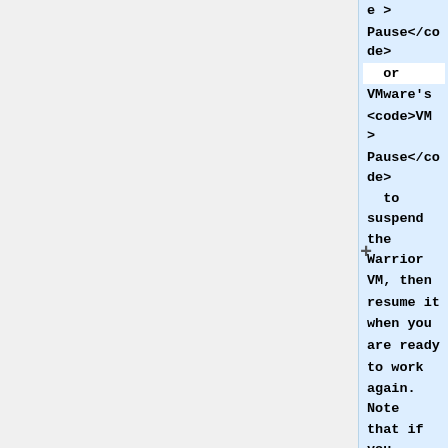e > Pause</code> or VMware's <code>VM > Pause</code> to suspend the Warrior VM, then resume it when you are ready to work again. Note that if you keep it suspended for too long (more than a few hours), the tracker